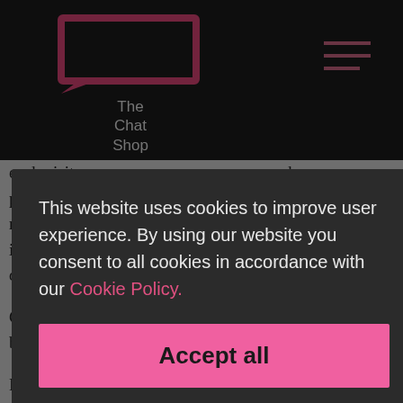[Figure (logo): The Chat Shop logo: pink rectangular speech bubble outline on dark background with text 'The Chat Shop' below]
each visitor [partial text obscured] answers whenever p[artial] to get in touch with y[our] ll receive valuable inf[ormation] immediately[.] e same questions a[nd...]
Chatbots ca[n...] so that's a huge benefi[t...]
Most marke[ters...] potential that chatbo[ts...] ogram a chatbot to track people's buying behavior, so you can monitor that data in order to improve your business practices to better reflect your consumers.
[Figure (screenshot): Cookie consent modal overlay with dark background. Text reads: 'This website uses cookies to improve user experience. By using our website you consent to all cookies in accordance with our Cookie Policy.' Pink 'Accept all' button and 'SHOW DETAILS' link with gear icon.]